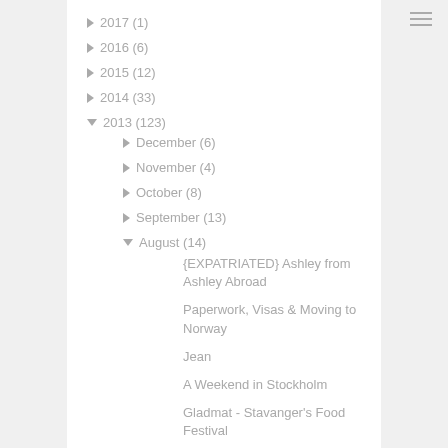► 2017 (1)
► 2016 (6)
► 2015 (12)
► 2014 (33)
▼ 2013 (123)
► December (6)
► November (4)
► October (8)
► September (13)
▼ August (14)
{EXPATRIATED} Ashley from Ashley Abroad
Paperwork, Visas & Moving to Norway
Jean
A Weekend in Stockholm
Gladmat - Stavanger's Food Festival